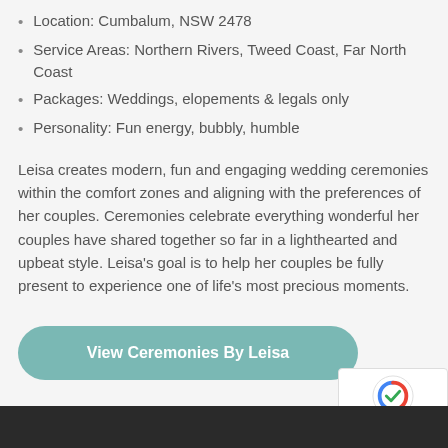Location: Cumbalum, NSW 2478
Service Areas: Northern Rivers, Tweed Coast, Far North Coast
Packages: Weddings, elopements & legals only
Personality: Fun energy, bubbly, humble
Leisa creates modern, fun and engaging wedding ceremonies within the comfort zones and aligning with the preferences of her couples. Ceremonies celebrate everything wonderful her couples have shared together so far in a lighthearted and upbeat style. Leisa's goal is to help her couples be fully present to experience one of life's most precious moments.
View Ceremonies By Leisa
[Figure (other): reCAPTCHA privacy badge with logo]
[Figure (photo): Dark photo strip at bottom of page]